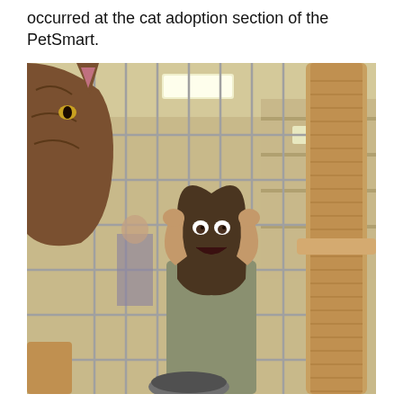occurred at the cat adoption section of the PetSmart.
[Figure (photo): A photo taken from inside a cat enclosure at a PetSmart. In the foreground on the left, a tabby cat is visible up close. Through the metal wire cage bars, a woman with long hair is visible in the background, holding her hands up to her head and making a wide-eyed, open-mouthed expression toward the cat. A tall carpeted cat tower/scratching post is visible on the right side. The store interior with shelving is visible in the background.]